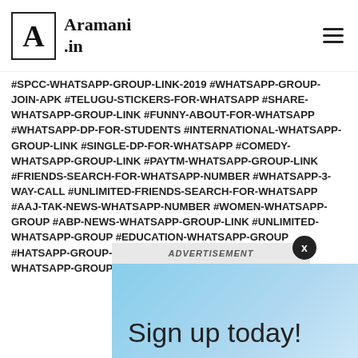Aramani.in
#SPCC-WHATSAPP-GROUP-LINK-2019 #WHATSAPP-GROUP-JOIN-APK #TELUGU-STICKERS-FOR-WHATSAPP #SHARE-WHATSAPP-GROUP-LINK #FUNNY-ABOUT-FOR-WHATSAPP #WHATSAPP-DP-FOR-STUDENTS #INTERNATIONAL-WHATSAPP-GROUP-LINK #SINGLE-DP-FOR-WHATSAPP #COMEDY-WHATSAPP-GROUP-LINK #PAYTM-WHATSAPP-GROUP-LINK #FRIENDS-SEARCH-FOR-WHATSAPP-NUMBER #WHATSAPP-3-WAY-CALL #UNLIMITED-FRIENDS-SEARCH-FOR-WHATSAPP #AAJ-TAK-NEWS-WHATSAPP-NUMBER #WOMEN-WHATSAPP-GROUP #ABP-NEWS-WHATSAPP-GROUP-LINK #UNLIMITED-WHATSAPP-GROUP #EDUCATION-WHATSAPP-GROUP #HATSAPP-GROUP-LINK #STATUS-GROUP-LINK #TAMIL-WHATSAPP-GROUP #WHA-WHATSAPP-GROUP
[Figure (screenshot): Advertisement overlay with 'Sign up today!' text and colorful icons]